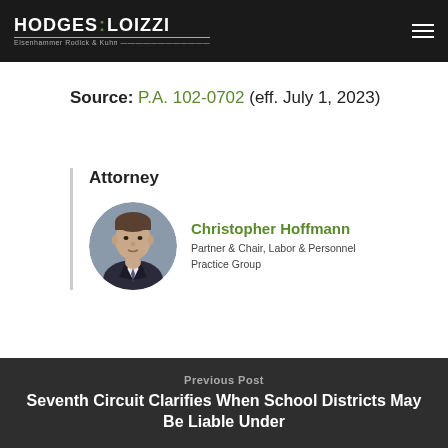HODGES LOIZZI — Eisenhammer Rodick & Kahn
Source: P.A. 102-0702 (eff. July 1, 2023)
Attorney
[Figure (photo): Circular headshot photo of Christopher Hoffmann, attorney, wearing a dark suit and tie]
Christopher Hoffmann
Partner & Chair, Labor & Personnel Practice Group
Previous Post
Seventh Circuit Clarifies When School Districts May Be Liable Under